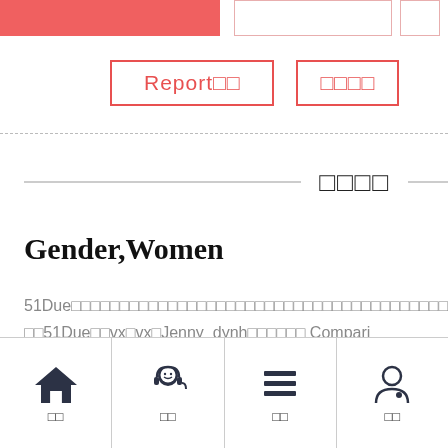[Figure (screenshot): Top navigation bar with red filled rectangle on left and two outlined rectangles on right]
[Figure (screenshot): Two red-outlined buttons: 'Report□□' and '□□□□']
[Figure (screenshot): Dashed horizontal divider line]
□□□□
Gender,Women
51Due□□□□□□□□□□□□□□□□□□□□□□□□□□□□□□□□□□□□□□□□□□□□□□□□□□□□51Due□□vx□vx□Jenny_dynh□□□□□□ Comparing
[Figure (screenshot): Bottom navigation bar with four icons: home (□□), person/customer (□□), list/menu (□□), user/account (□□)]